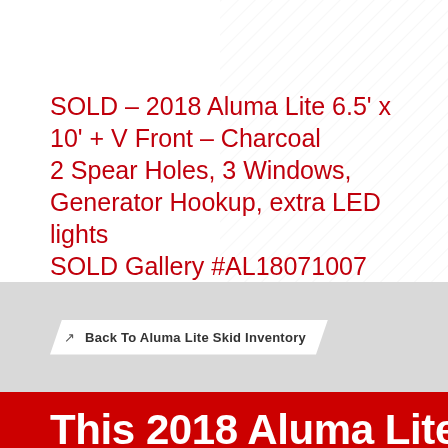SOLD – 2018 Aluma Lite 6.5' x 10' + V Front – Charcoal 2 Spear Holes, 3 Windows, Generator Hookup, extra LED lights SOLD Gallery #AL18071007
Back To Aluma Lite Skid Inventory
This 2018 Aluma Lite